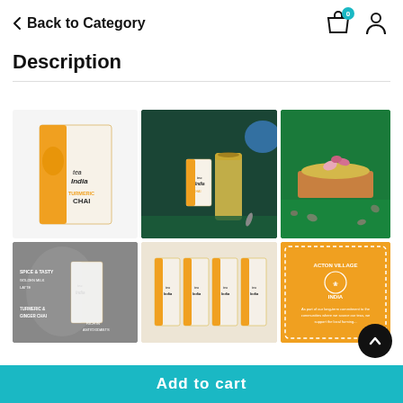< Back to Category
Description
[Figure (photo): Tea India Turmeric Chai product box on white background]
[Figure (photo): Tea India Turmeric Chai box with a tall glass of golden turmeric latte on dark teal background with blue teapot]
[Figure (photo): Close-up of golden turmeric chai in a copper cup with dried rose petals on green background]
[Figure (photo): Tea India product box on grey background with text about spices and ingredients]
[Figure (photo): Multiple Tea India Turmeric Chai boxes arranged together]
[Figure (photo): Orange branded card for Acton Village India with commitment text]
Add to cart